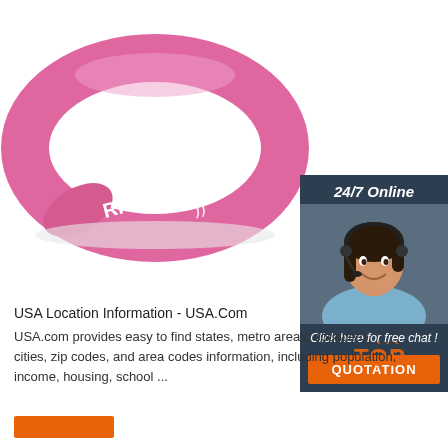[Figure (photo): Pink RFID silicone wristband with white RFID logo and signal waves, photographed on white background]
[Figure (infographic): 24/7 Online chat widget with dark blue background, photo of smiling woman with headset, text 'Click here for free chat!' and orange QUOTATION button]
USA Location Information - USA.Com
USA.com provides easy to find states, metro areas, counties, cities, zip codes, and area codes information, including population, income, housing, school ...